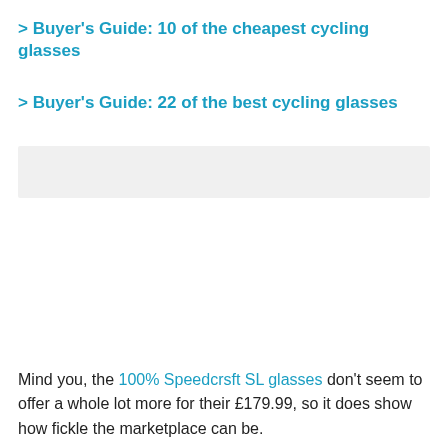> Buyer's Guide: 10 of the cheapest cycling glasses
> Buyer's Guide: 22 of the best cycling glasses
[Figure (other): Advertisement or image placeholder box with light grey background]
Mind you, the 100% Speedcrsft SL glasses don't seem to offer a whole lot more for their £179.99, so it does show how fickle the marketplace can be.